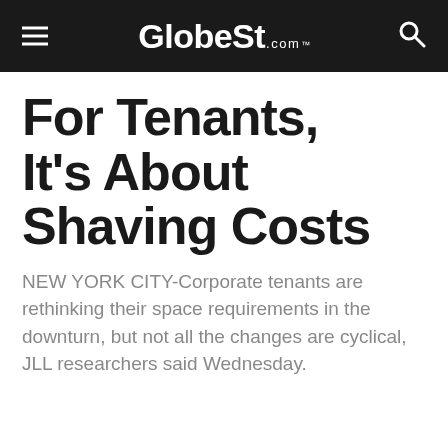GlobeSt.com
For Tenants, It's About Shaving Costs
NEW YORK CITY-Corporate tenants are rethinking their space requirements in the downturn, but not all the changes are cyclical, JLL researchers said Wednesday.